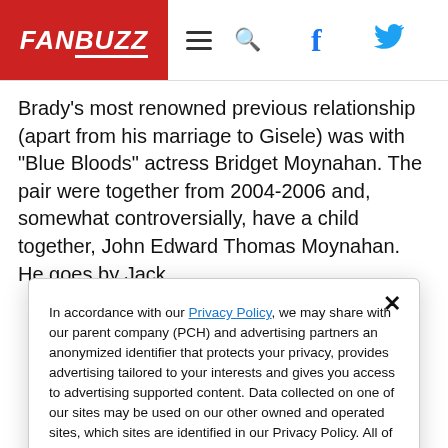FANBUZZ
Brady’s most renowned previous relationship (apart from his marriage to Gisele) was with “Blue Bloods” actress Bridget Moynahan. The pair were together from 2004-2006 and, somewhat controversially, have a child together, John Edward Thomas Moynahan. He goes by Jack.
In accordance with our Privacy Policy, we may share with our parent company (PCH) and advertising partners an anonymized identifier that protects your privacy, provides advertising tailored to your interests and gives you access to advertising supported content. Data collected on one of our sites may be used on our other owned and operated sites, which sites are identified in our Privacy Policy. All of our sites are governed by the same Privacy Policy, and by proceeding to access this site, you are consenting to that Privacy Policy.